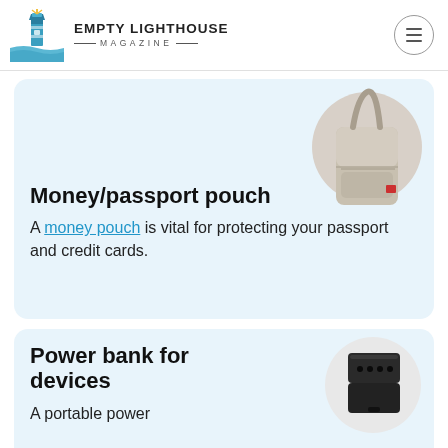EMPTY LIGHTHOUSE MAGAZINE
[Figure (illustration): Money/passport pouch product image - beige fabric neck pouch with strap]
Money/passport pouch
A money pouch is vital for protecting your passport and credit cards.
[Figure (illustration): Power bank device - black rectangular portable charger]
Power bank for devices
A portable power